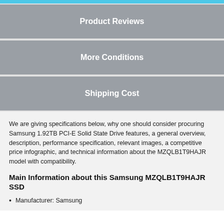Product Reviews
More Conditions
Shipping Cost
We are giving specifications below, why one should consider procuring Samsung 1.92TB PCI-E Solid State Drive features, a general overview, description, performance specification, relevant images, a competitive price infographic, and technical information about the MZQLB1T9HAJR model with compatibility.
Main Information about this Samsung MZQLB1T9HAJR SSD
Manufacturer: Samsung